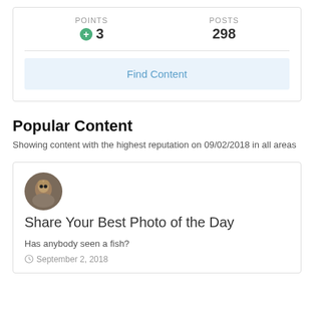POINTS +3
POSTS 298
Find Content
Popular Content
Showing content with the highest reputation on 09/02/2018 in all areas
[Figure (photo): Circular avatar photo of a bird (owl)]
Share Your Best Photo of the Day
Has anybody seen a fish?
September 2, 2018